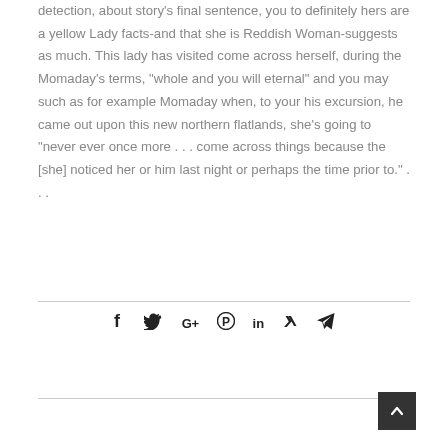detection, about story’s final sentence, you to definitely hers are a yellow Lady facts-and that she is Reddish Woman-suggests as much. This lady has visited come across herself, during the Momaday’s terms, “whole and you will eternal” and you may such as for example Momaday when, to your his excursion, he came out upon this new northern flatlands, she’s going to “never ever once more … come across things because the [she] noticed her or him last night or perhaps the time prior to.” …
[Figure (infographic): Social media share icons: Facebook (f), Twitter (bird), Google+ (G+), Pinterest (circle-P), LinkedIn (in), Xing (X), Telegram (paper plane)]
[Figure (other): Scroll-to-top button (dark square with upward chevron arrow)]